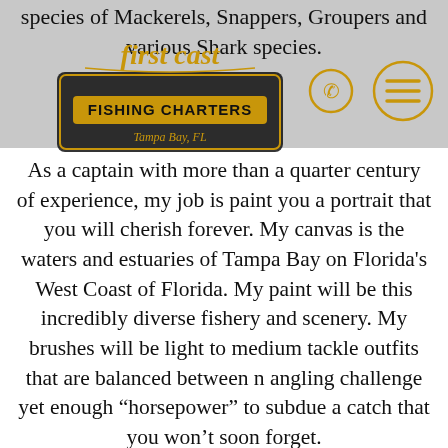species of Mackerels, Snappers, Groupers and various Shark species.
[Figure (logo): First Cast Fishing Charters Tampa Bay FL logo in gold and black script]
As a captain with more than a quarter century of experience, my job is paint you a portrait that you will cherish forever. My canvas is the waters and estuaries of Tampa Bay on Florida's West Coast of Florida. My paint will be this incredibly diverse fishery and scenery. My brushes will be light to medium tackle outfits that are balanced between n angling challenge yet enough “horsepower” to subdue a catch that you won’t soon forget.
What makes Tampa Bay so enticing is the diversity of the surrounding waters, estuaries and structure. We can be fishing along a towering, bustling bridge one minute followed by an oyster...